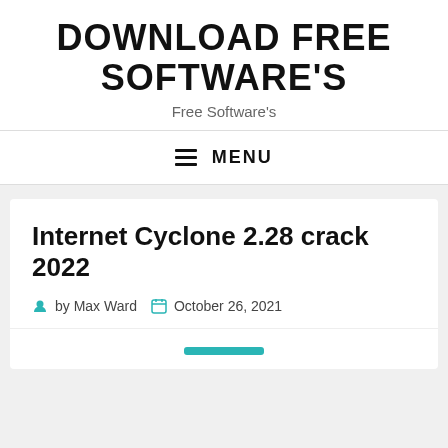DOWNLOAD FREE SOFTWARE'S
Free Software's
MENU
Internet Cyclone 2.28 crack 2022
by Max Ward   October 26, 2021